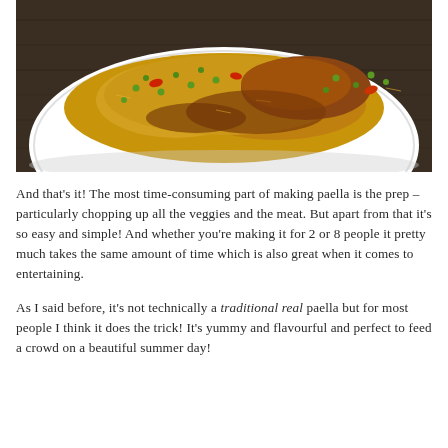[Figure (photo): A white plate with a serving of paella — yellow/orange rice with green peas, red pepper pieces, and pieces of meat, on a dark wooden surface background.]
And that's it! The most time-consuming part of making paella is the prep – particularly chopping up all the veggies and the meat. But apart from that it's so easy and simple! And whether you're making it for 2 or 8 people it pretty much takes the same amount of time which is also great when it comes to entertaining.
As I said before, it's not technically a traditional real paella but for most people I think it does the trick! It's yummy and flavourful and perfect to feed a crowd on a beautiful summer day!